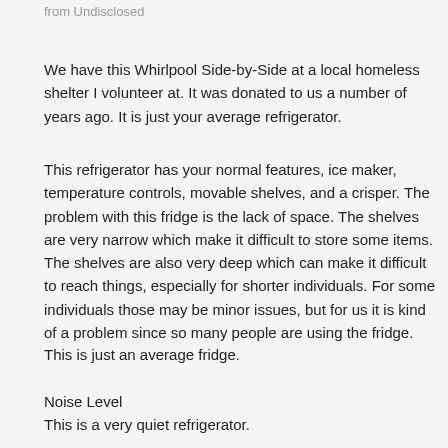from Undisclosed
We have this Whirlpool Side-by-Side at a local homeless shelter I volunteer at. It was donated to us a number of years ago. It is just your average refrigerator.
This refrigerator has your normal features, ice maker, temperature controls, movable shelves, and a crisper. The problem with this fridge is the lack of space. The shelves are very narrow which make it difficult to store some items. The shelves are also very deep which can make it difficult to reach things, especially for shorter individuals. For some individuals those may be minor issues, but for us it is kind of a problem since so many people are using the fridge.
This is just an average fridge.
Noise Level
This is a very quiet refrigerator.